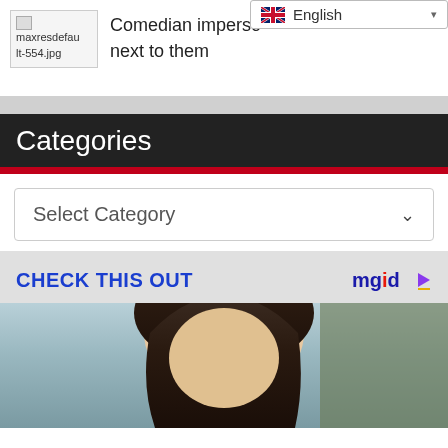[Figure (screenshot): Broken image thumbnail labeled maxresdefault-554.jpg with caption text 'Comedian imperso...s next to them']
Comedian imperso... next to them
[Figure (screenshot): English language selector dropdown overlay with UK flag icon]
Categories
[Figure (screenshot): Select Category dropdown box]
CHECK THIS OUT
[Figure (photo): Photo of a person with dark hair, partial view, against a light background]
[Figure (logo): mgid logo with play button icon]